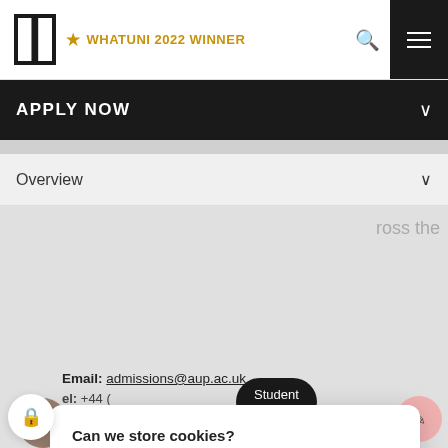[Figure (screenshot): University website header with logo P, WhatUni 2022 Winner badge, search icon, and hamburger menu on black background]
APPLY NOW
Overview
Can we store cookies?

These will be used to help us measure and improve the website experience for all visitors.

Customize    No    Yes
Email: admissions@aup.ac.uk
Tel: +44 (
Student Login    Staff Login